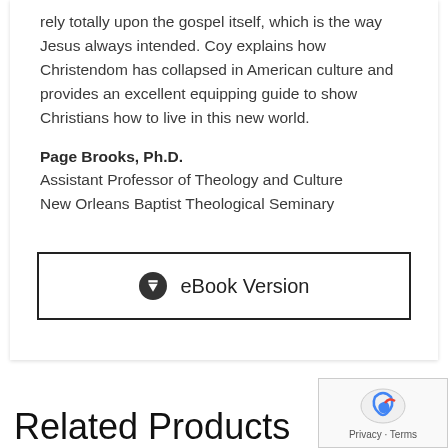rely totally upon the gospel itself, which is the way Jesus always intended. Coy explains how Christendom has collapsed in American culture and provides an excellent equipping guide to show Christians how to live in this new world.
Page Brooks, Ph.D.
Assistant Professor of Theology and Culture
New Orleans Baptist Theological Seminary
[Figure (other): eBook Version download button with download icon]
Related Products